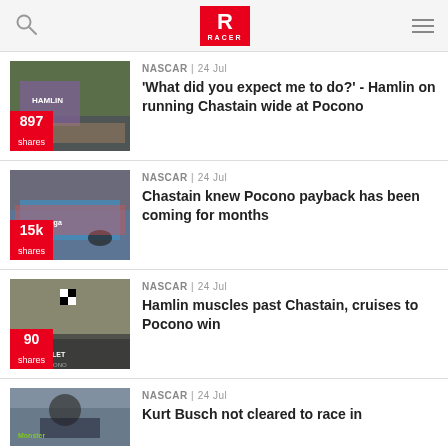RACER
[Figure (photo): NASCAR driver climbing from or standing near car, purple uniform, Hamlin livery]
NASCAR | 24 Jul
'What did you expect me to do?' - Hamlin on running Chastain wide at Pocono
897 shares
[Figure (photo): Blue and red NASCAR stock car racing on track]
NASCAR | 24 Jul
Chastain knew Pocono payback has been coming for months
15k shares
[Figure (photo): NASCAR cars near finish line checkered flag at Pocono Raceway, Chevrolet branding visible]
NASCAR | 24 Jul
Hamlin muscles past Chastain, cruises to Pocono win
90 shares
[Figure (photo): Partial view of a NASCAR driver or car, Monster Energy branding visible]
NASCAR | 24 Jul
Kurt Busch not cleared to race in